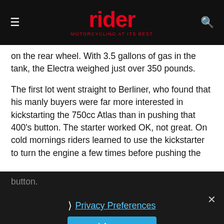rider — MOTORCYCLING AT ITS BEST
on the rear wheel. With 3.5 gallons of gas in the tank, the Electra weighed just over 350 pounds.
The first lot went straight to Berliner, who found that his manly buyers were far more interested in kickstarting the 750cc Atlas than in pushing that 400's button. The starter worked OK, not great. On cold mornings riders learned to use the kickstarter to turn the engine a few times before pushing the button.
[Figure (screenshot): Cookie consent overlay with Privacy Preferences link and I Agree button on dark background]
[Figure (photo): Partial dark photograph visible at bottom of page]